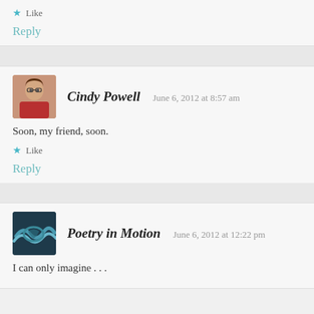★ Like
Reply
Cindy Powell  June 6, 2012 at 8:57 am
Soon, my friend, soon.
★ Like
Reply
Poetry in Motion  June 6, 2012 at 12:22 pm
I can only imagine . . .